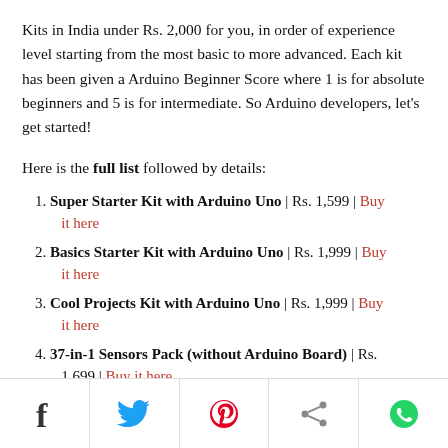Kits in India under Rs. 2,000 for you, in order of experience level starting from the most basic to more advanced. Each kit has been given a Arduino Beginner Score where 1 is for absolute beginners and 5 is for intermediate. So Arduino developers, let's get started!
Here is the full list followed by details:
Super Starter Kit with Arduino Uno | Rs. 1,599 | Buy it here
Basics Starter Kit with Arduino Uno | Rs. 1,999 | Buy it here
Cool Projects Kit with Arduino Uno | Rs. 1,999 | Buy it here
37-in-1 Sensors Pack (without Arduino Board) | Rs. 1,699 | Buy it here
Arduino Compatible WiFi IoT Kit | Rs. 1,200 | Buy it
Social share icons: Facebook, Twitter, Pinterest, Share, WhatsApp